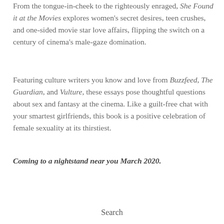From the tongue-in-cheek to the righteously enraged, She Found it at the Movies explores women's secret desires, teen crushes, and one-sided movie star love affairs, flipping the switch on a century of cinema's male-gaze domination.
Featuring culture writers you know and love from Buzzfeed, The Guardian, and Vulture, these essays pose thoughtful questions about sex and fantasy at the cinema. Like a guilt-free chat with your smartest girlfriends, this book is a positive celebration of female sexuality at its thirstiest.
Coming to a nightstand near you March 2020.
Search